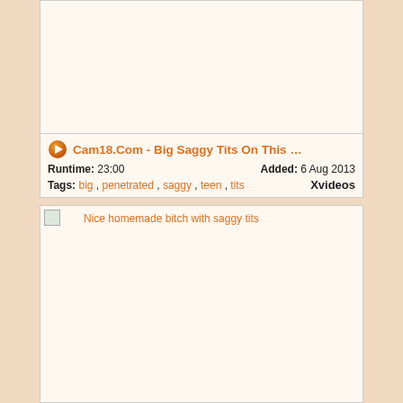[Figure (screenshot): Blank video thumbnail placeholder at top]
Cam18.Com - Big Saggy Tits On This … Runtime: 23:00 Added: 6 Aug 2013 Tags: big , penetrated , saggy , teen , tits Xvideos
[Figure (screenshot): Second video thumbnail with caption: Nice homemade bitch with saggy tits]